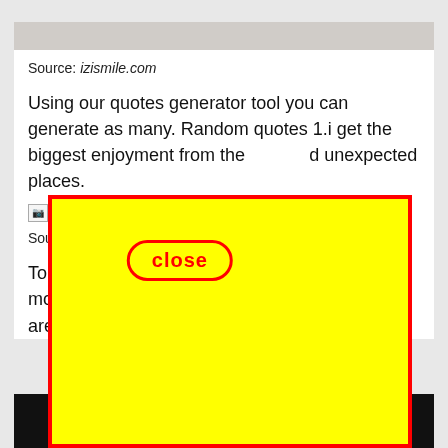[Figure (screenshot): Top gray image strip at top of white content area]
Source: izismile.com
Using our quotes generator tool you can generate as many. Random quotes 1.i get the biggest enjoyment from the most unexpected places.
[Figure (other): Close button overlay — yellow rounded rectangle with red border and red bold text reading 'close']
[Figure (other): Broken image placeholder icon with text 'Ra...']
Sour...
Top ... p 10 moti... we aren...
[Figure (other): Large yellow rectangle with red border overlaying the lower portion of the page, covering part of the text below]
[Figure (other): Black bar at the bottom of the page]